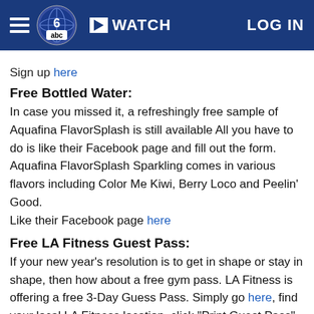WATCH | LOG IN
Sign up here
Free Bottled Water:
In case you missed it, a refreshingly free sample of Aquafina FlavorSplash is still available All you have to do is like their Facebook page and fill out the form. Aquafina FlavorSplash Sparkling comes in various flavors including Color Me Kiwi, Berry Loco and Peelin' Good.
Like their Facebook page here
Free LA Fitness Guest Pass:
If your new year's resolution is to get in shape or stay in shape, then how about a free gym pass. LA Fitness is offering a free 3-Day Guess Pass. Simply go here, find your local LA Fitness location, click "Print Guest Pass" on the left hand side, fill out your information and your free pass will